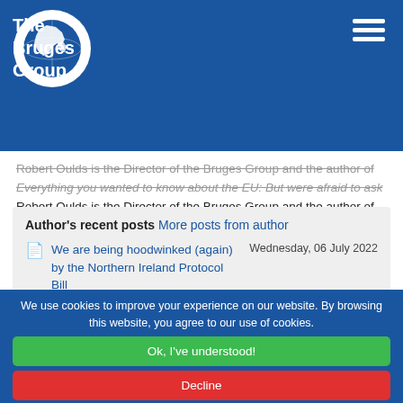[Figure (logo): The Bruges Group logo — circular globe icon with white text reading 'The Bruges Group' on a blue background header bar]
Robert Oulds is the Director of the Bruges Group and the author of Everything you wanted to know about the EU: But were afraid to ask
Author's recent posts More posts from author
We are being hoodwinked (again) by the Northern Ireland Protocol Bill — Wednesday, 06 July 2022
We use cookies to improve your experience on our website. By browsing this website, you agree to our use of cookies.
Ok, I've understood!
Decline